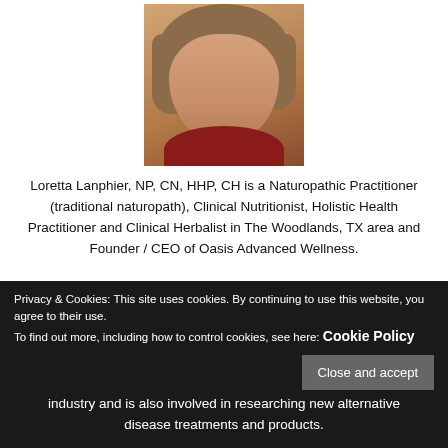[Figure (photo): Headshot of Loretta Lanphier, a woman with a short brown bob hairstyle, wearing a red top, smiling at the camera against a white background.]
Loretta Lanphier, NP, CN, HHP, CH is a Naturopathic Practitioner (traditional naturopath), Clinical Nutritionist, Holistic Health Practitioner and Clinical Herbalist in The Woodlands, TX area and Founder / CEO of Oasis Advanced Wellness.
Privacy & Cookies: This site uses cookies. By continuing to use this website, you agree to their use.
To find out more, including how to control cookies, see here: Cookie Policy
industry and is also involved in researching new alternative disease treatments and products.